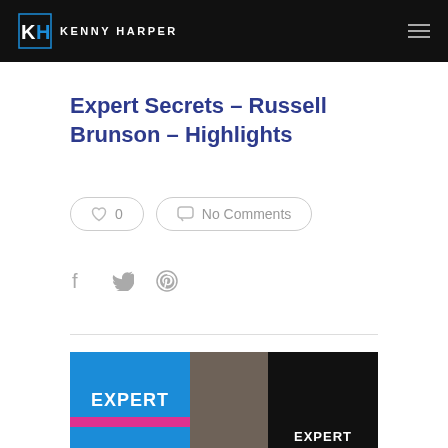KENNY HARPER
Expert Secrets – Russell Brunson – Highlights
0
No Comments
[Figure (photo): Cover of the book Expert Secrets by Russell Brunson shown in two versions: a blue cover with EXPERT text and a dark cover with EXPERT text]